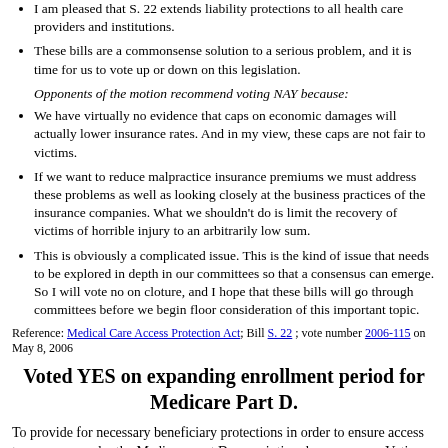I am pleased that S. 22 extends liability protections to all health care providers and institutions.
These bills are a commonsense solution to a serious problem, and it is time for us to vote up or down on this legislation.
Opponents of the motion recommend voting NAY because:
We have virtually no evidence that caps on economic damages will actually lower insurance rates. And in my view, these caps are not fair to victims.
If we want to reduce malpractice insurance premiums we must address these problems as well as looking closely at the business practices of the insurance companies. What we shouldn't do is limit the recovery of victims of horrible injury to an arbitrarily low sum.
This is obviously a complicated issue. This is the kind of issue that needs to be explored in depth in our committees so that a consensus can emerge. So I will vote no on cloture, and I hope that these bills will go through committees before we begin floor consideration of this important topic.
Reference: Medical Care Access Protection Act; Bill S. 22 ; vote number 2006-115 on May 8, 2006
Voted YES on expanding enrollment period for Medicare Part D.
To provide for necessary beneficiary protections in order to ensure access to coverage under the Medicare part D prescription drug program. Voting YES would extend the 6-month enrollment period for the Prescription Drug Benefit Program to the entire year of 2006 and allows beneficiaries to change plans once in that year, without penalty, after enrollment. Also would fully reimburse pharmacies